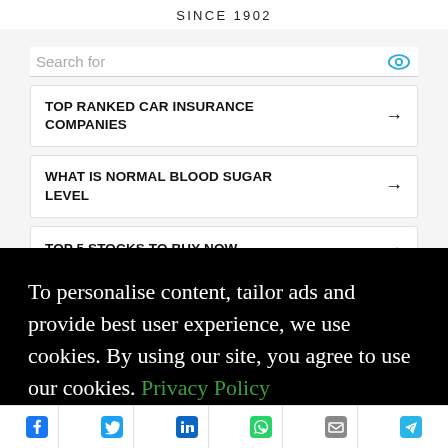SINCE 1902
Search for
TOP RANKED CAR INSURANCE COMPANIES →
WHAT IS NORMAL BLOOD SUGAR LEVEL →
TOP 5 STOCKS TO BUY NOW →
To personalise content, tailor ads and provide best user experience, we use cookies. By using our site, you agree to use our cookies. Privacy Policy
Accept & Continue